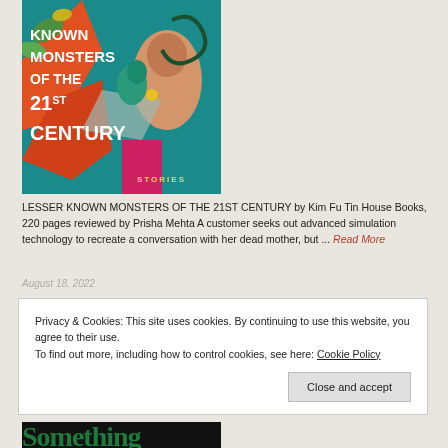[Figure (illustration): Book cover of 'Lesser Known Monsters of the 21st Century' showing colorful illustrated figures on a teal background with large white text. The title reads 'KNOWN / MONSTERS / OF THE / 21ST / CENTURY / STORIES' with a partially visible top.]
LESSER KNOWN MONSTERS OF THE 21ST CENTURY by Kim Fu Tin House Books, 220 pages reviewed by Prisha Mehta A customer seeks out advanced simulation technology to recreate a conversation with her dead mother, but ... Read More
August 18, 2022
Privacy & Cookies: This site uses cookies. By continuing to use this website, you agree to their use.
To find out more, including how to control cookies, see here: Cookie Policy
Close and accept
[Figure (illustration): Partial view of another book cover showing text 'Something' in large green serif font against a dark background.]